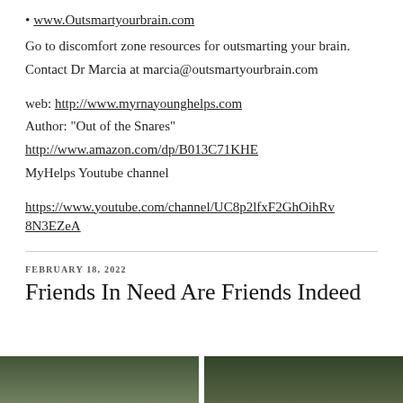• www.Outsmartyourbrain.com
Go to discomfort zone resources for outsmarting your brain.
Contact Dr Marcia at marcia@outsmartyourbrain.com
web: http://www.myrnayounghelps.com
Author: “Out of the Snares”
http://www.amazon.com/dp/B013C71KHE
MyHelps Youtube channel
https://www.youtube.com/channel/UC8p2lfxF2GhOihRv8N3EZeA
FEBRUARY 18, 2022
Friends In Need Are Friends Indeed
[Figure (photo): Two side-by-side outdoor photos at the bottom of the page, appearing to show natural scenery.]